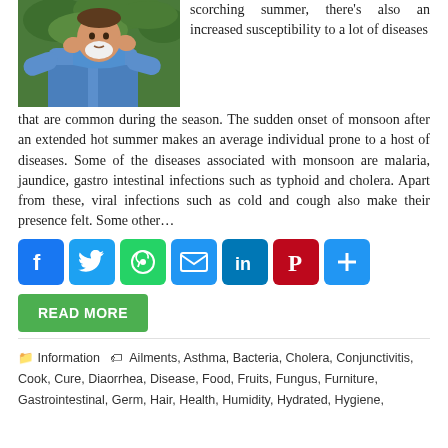[Figure (photo): Person in blue shirt appearing to sneeze or cover their face, outdoors with green foliage background]
scorching summer, there's also an increased susceptibility to a lot of diseases that are common during the season. The sudden onset of monsoon after an extended hot summer makes an average individual prone to a host of diseases. Some of the diseases associated with monsoon are malaria, jaundice, gastro intestinal infections such as typhoid and cholera. Apart from these, viral infections such as cold and cough also make their presence felt. Some other…
[Figure (infographic): Social media share buttons: Facebook, Twitter, WhatsApp, Email, LinkedIn, Pinterest, Share]
READ MORE
📁 Information  🏷 Ailments, Asthma, Bacteria, Cholera, Conjunctivitis, Cook, Cure, Diaorrhea, Disease, Food, Fruits, Fungus, Furniture, Gastrointestinal, Germ, Hair, Health, Humidity, Hydrated, Hygiene,